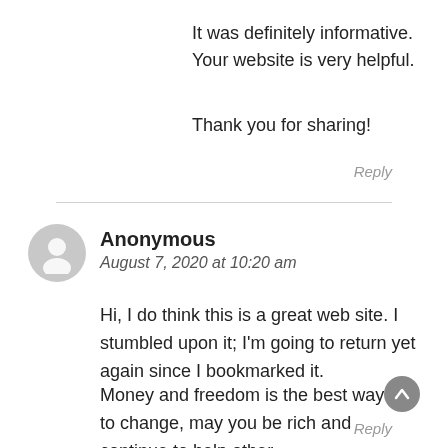It was definitely informative. Your website is very helpful.
Thank you for sharing!
Reply
Anonymous
August 7, 2020 at 10:20 am
Hi, I do think this is a great web site. I stumbled upon it; I'm going to return yet again since I bookmarked it. Money and freedom is the best way to change, may you be rich and continue to help other
Reply